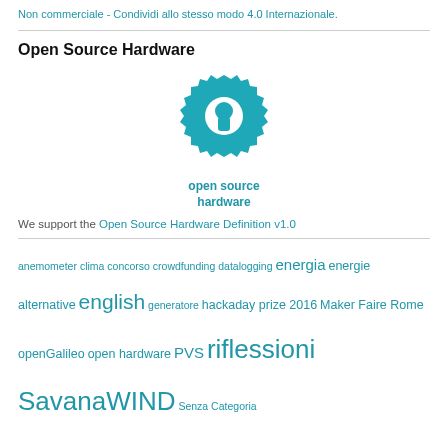Non commerciale - Condividi allo stesso modo 4.0 Internazionale.
Open Source Hardware
[Figure (logo): Open Source Hardware logo: teal gear with keyhole cutout, with text 'open source hardware' below in teal]
We support the Open Source Hardware Definition v1.0
anemometer  clima  concorso  crowdfunding  datalogging  energia  energie alternative  english  generatore  hackaday prize 2016  Maker Faire Rome  openGalileo  open hardware  PVS  riflessioni  SavanaWIND  Senza Categoria